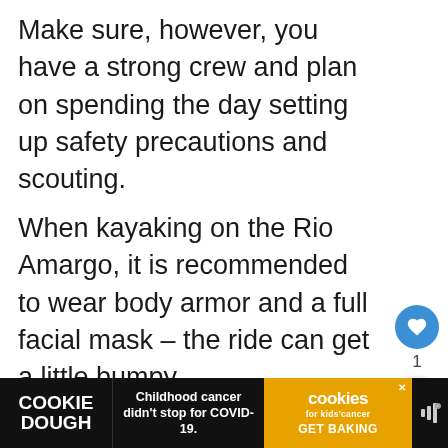Make sure, however, you have a strong crew and plan on spending the day setting up safety precautions and scouting.
When kayaking on the Rio Amargo, it is recommended to wear body armor and a full facial mask – the ride can get a little bumpy.
[Figure (screenshot): UI elements: blue heart/like button, share button, like count of 1]
[Figure (screenshot): What's Next card with thumbnail and text 'How To Determine T...']
[Figure (screenshot): Advertisement banner: Cookie Dough / Childhood cancer didn't stop for COVID-19. / cookies for kids cancer GET BAKING]